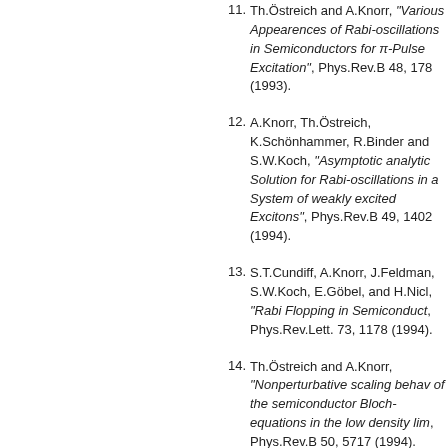11. Th.Östreich and A.Knorr, "Various Appearences of Rabi-oscillations in Semiconductors for π-Pulse Excitation", Phys.Rev.B 48, 1780 (1993).
12. A.Knorr, Th.Östreich, K.Schönhammer, R.Binder and S.W.Koch, "Asymptotic analytic Solution for Rabi-oscillations in a System of weakly excited Excitons", Phys.Rev.B 49, 1402 (1994).
13. S.T.Cundiff, A.Knorr, J.Feldmann, S.W.Koch, E.Göbel, and H.Nickel, "Rabi Flopping in Semiconductors", Phys.Rev.Lett. 73, 1178 (1994).
14. Th.Östreich and A.Knorr, "Nonperturbative scaling behavior of the semiconductor Bloch-equations in the low density limit", Phys.Rev.B 50, 5717 (1994).